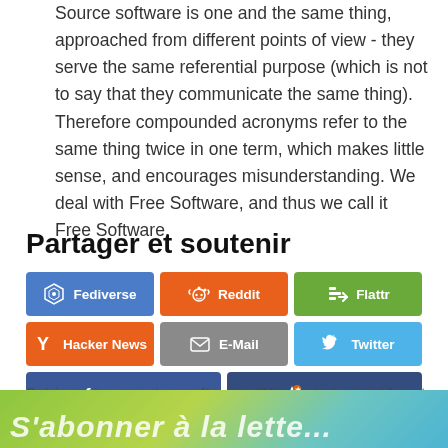Source software is one and the same thing, approached from different points of view - they serve the same referential purpose (which is not to say that they communicate the same thing). Therefore compounded acronyms refer to the same thing twice in one term, which makes little sense, and encourages misunderstanding. We deal with Free Software, and thus we call it Free Software.
Partager et soutenir
[Figure (infographic): Eight social sharing buttons arranged in a grid: Fediverse (blue), Reddit (orange), Flattr (green), Hacker News (orange), E-Mail (grey), Twitter (light blue), Facebook (dark blue), Support! (dark navy)]
Certains services peuvent ne pas être compatibles avec les Logiciels Libres et abîmer votre vie privée. En savoir plus.